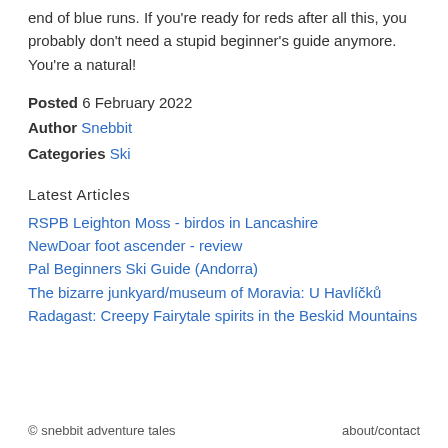end of blue runs. If you're ready for reds after all this, you probably don't need a stupid beginner's guide anymore. You're a natural!
Posted 6 February 2022
Author Snebbit
Categories Ski
Latest Articles
RSPB Leighton Moss - birdos in Lancashire
NewDoar foot ascender - review
Pal Beginners Ski Guide (Andorra)
The bizarre junkyard/museum of Moravia: U Havlíčků
Radagast: Creepy Fairytale spirits in the Beskid Mountains
© snebbit adventure tales    about/contact